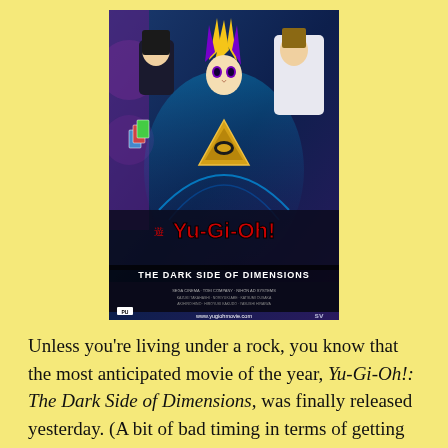[Figure (illustration): Movie poster for Yu-Gi-Oh!: The Dark Side of Dimensions, featuring anime characters including Yugi with the Millennium Puzzle, and the film title and credits below.]
Unless you're living under a rock, you know that the most anticipated movie of the year, Yu-Gi-Oh!: The Dark Side of Dimensions, was finally released yesterday. (A bit of bad timing in terms of getting